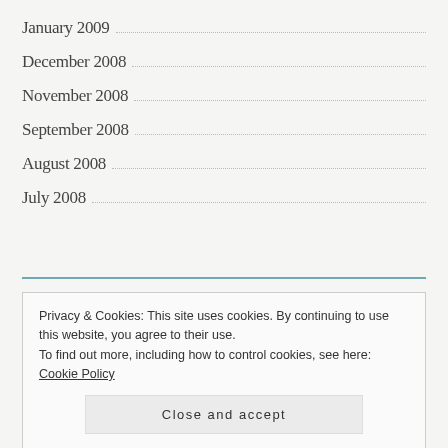January 2009
December 2008
November 2008
September 2008
August 2008
July 2008
Privacy & Cookies: This site uses cookies. By continuing to use this website, you agree to their use.
To find out more, including how to control cookies, see here: Cookie Policy
Close and accept